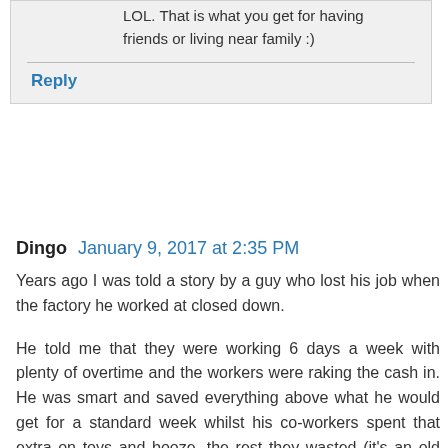LOL. That is what you get for having friends or living near family :)
Reply
Dingo  January 9, 2017 at 2:35 PM
Years ago I was told a story by a guy who lost his job when the factory he worked at closed down.
He told me that they were working 6 days a week with plenty of overtime and the workers were raking the cash in. He was smart and saved everything above what he would get for a standard week whilst his co-workers spent that extra on toys and booze, the rest they wasted (it's an old joke I know)
Well one day, out of the blue they arrived at work the gates were locked. They were all out of a job.
Because it was such big news the politicians ensured that everyone went onto social security straight away. Everyone